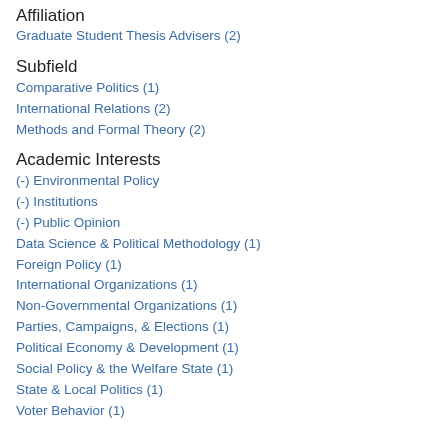Affiliation
Graduate Student Thesis Advisers (2)
Subfield
Comparative Politics (1)
International Relations (2)
Methods and Formal Theory (2)
Academic Interests
(-) Environmental Policy
(-) Institutions
(-) Public Opinion
Data Science & Political Methodology (1)
Foreign Policy (1)
International Organizations (1)
Non-Governmental Organizations (1)
Parties, Campaigns, & Elections (1)
Political Economy & Development (1)
Social Policy & the Welfare State (1)
State & Local Politics (1)
Voter Behavior (1)